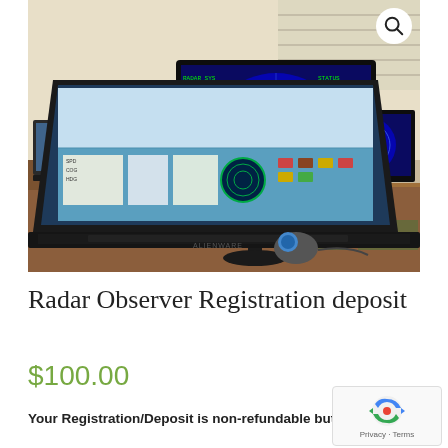[Figure (photo): Photo of a classroom or training room showing an Alienware laptop and a large desktop monitor on a wooden desk. The laptop screen displays radar/navigation software with colorful UI elements including a circular scope. The large monitor shows a radar scope with a blue background displaying concentric circles and a globe/land mass shape. Additional laptop screens are visible in the background. A trackball mouse sits on the desk.]
Radar Observer Registration deposit
$100.00
Your Registration/Deposit is non-refundable but, is